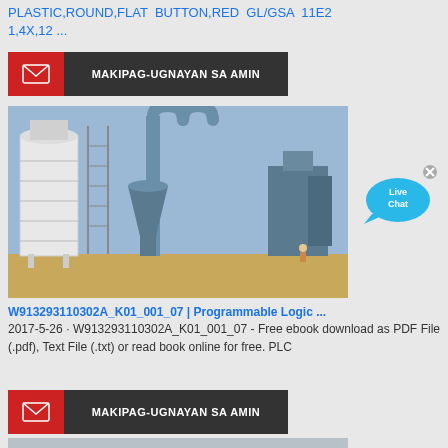PLASTIC,ROUND,FLAT BUTTON,RED GL/GSA 11E2 1,4X,12 ...
[Figure (infographic): Contact bar with red email icon and dark label MAKIPAG-UGNAYAN SA AMIN]
[Figure (photo): Industrial plant with large white silo tank and blue metal processing machinery against a sky background]
[Figure (infographic): Live Chat speech bubble widget in blue]
W913293110302A_K01_001_07 | Programmable Logic ...
2017-5-26 · W913293110302A_K01_001_07 - Free ebook download as PDF File (.pdf), Text File (.txt) or read book online for free. PLC
[Figure (infographic): Contact bar with red email icon and dark label MAKIPAG-UGNAYAN SA AMIN]
[Figure (photo): Bottom partial image strip of industrial or mechanical equipment]